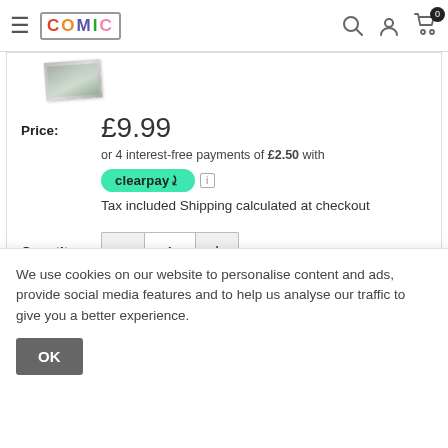COMIC store navigation with hamburger menu, logo, search, account, and cart icons
[Figure (photo): Partial product thumbnail image (comic book corner visible)]
Price: £9.99
or 4 interest-free payments of £2.50 with
[Figure (logo): Clearpay logo badge (teal pill shape with 'clearpay' text and arrow icon)]
Tax included Shipping calculated at checkout
Quantity: 1
We use cookies on our website to personalise content and ads, provide social media features and to help us analyse our traffic to give you a better experience.
OK
Share this product